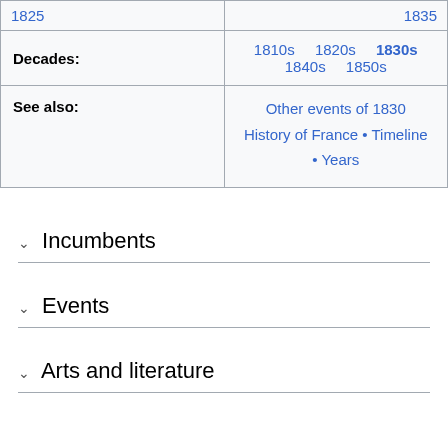| 1825 | 1835 |
| Decades: | 1810s  1820s  1830s  1840s  1850s |
| See also: | Other events of 1830  History of France • Timeline • Years |
∨  Incumbents
∨  Events
∨  Arts and literature